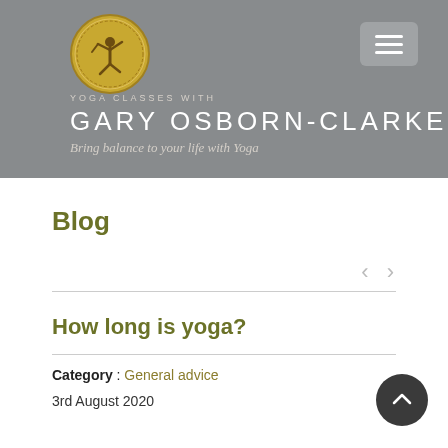[Figure (logo): Gold circular logo with dancing Nataraja figure on grey header background]
YOGA CLASSES WITH
GARY OSBORN-CLARKE
Bring balance to your life with Yoga
Blog
How long is yoga?
Category : General advice
3rd August 2020